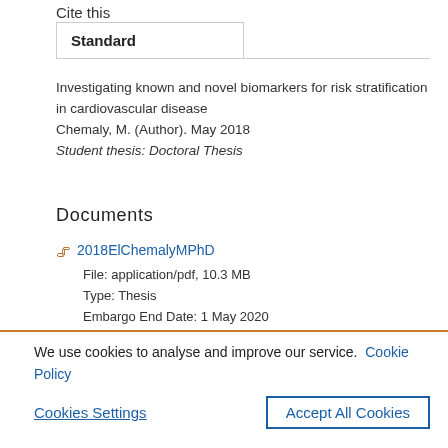Cite this
Standard
Investigating known and novel biomarkers for risk stratification in cardiovascular disease
Chemaly, M. (Author). May 2018
Student thesis: Doctoral Thesis
Documents
2018ElChemalyMPhD
File: application/pdf, 10.3 MB
Type: Thesis
Embargo End Date: 1 May 2020
We use cookies to analyse and improve our service. Cookie Policy
Cookies Settings
Accept All Cookies